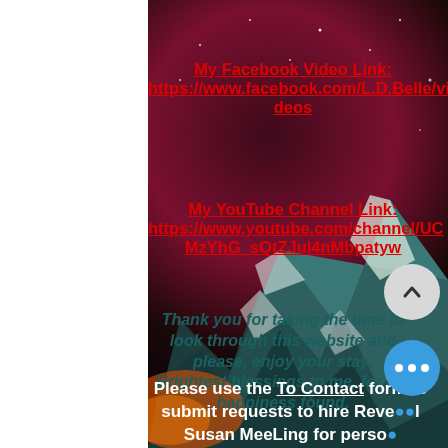My Facebook Video Link: https://www.facebook.com/L.D.Belle/videos
My YouTube Channel Link: https://www.youtube.com/channel/UCMzYhG_sQtZJul4nMbpatyw
Thank you for taking the time to look through this website and please, enjoy your stay.
Brightest blessings to me, for my happiness found.
Please use the To Contact form to submit requests to hire Reverend Susan MeeLing for personal appearances for book signings,